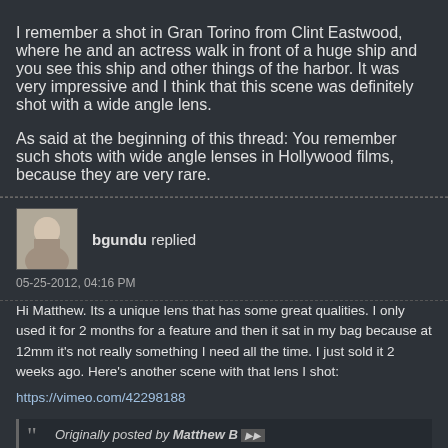I remember a shot in Gran Torino from Clint Eastwood, where he and an actress walk in front of a huge ship and you see this ship and other things of the harbor. It was very impressive and I think that this scene was definitely shot with a wide angle lens.
As said at the beginning of this thread: You remember such shots with wide angle lenses in Hollywood films, because they are very rare.
bgundu replied
05-25-2012, 04:16 PM
Hi Matthew. Its a unique lens that has some great qualities. I only used it for 2 months for a feature and then it sat in my bag because at 12mm it's not really something I need all the time. I just sold it 2 weeks ago. Here's another scene with that lens I shot:
https://vimeo.com/42298188
Originally posted by Matthew B
That looks really nice Bob. I'm actually looking at getting that lens atm. I know your post was from a few months ago, but are you still using it? If so what are your thoughts? How do you think it would cut with some FD's?